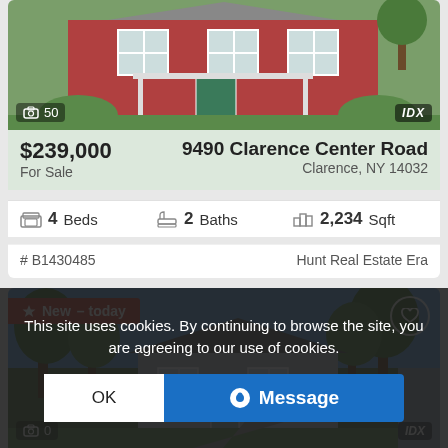[Figure (photo): Red brick house exterior photo with 50 photo counter and IDX badge]
$239,000 For Sale | 9490 Clarence Center Road, Clarence, NY 14032
4 Beds  2 Baths  2,234 Sqft
# B1430485  Hunt Real Estate Era
[Figure (photo): Blue/gray house exterior photo with trees and blue sky; New - today badge]
$285,000 For Sale | Clarence, NY 14032
This site uses cookies. By continuing to browse the site, you are agreeing to our use of cookies.
OK | Message